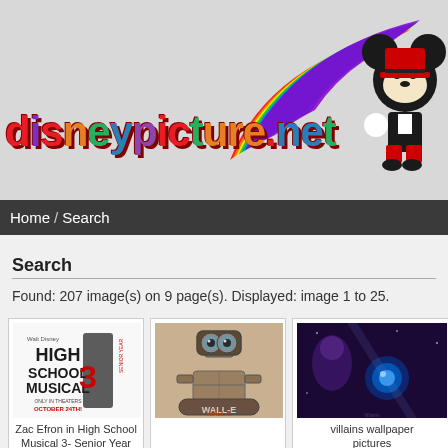[Figure (logo): DisneypPicture.net logo with colorful rainbow swoosh and Mickey Mouse character on right side]
Home / Search
Search
Found: 207 image(s) on 9 page(s). Displayed: image 1 to 25.
[Figure (photo): Zac Efron in High School Musical 3 - Senior Year movie poster. Caption: Zac Efron in High School Musical 3- Senior Year Wallpaper picture]
[Figure (photo): WALL-E robot character image]
[Figure (photo): Villains picture - partial view of Disney villain scene. Caption: villains wallpaper pictures / Villains...]